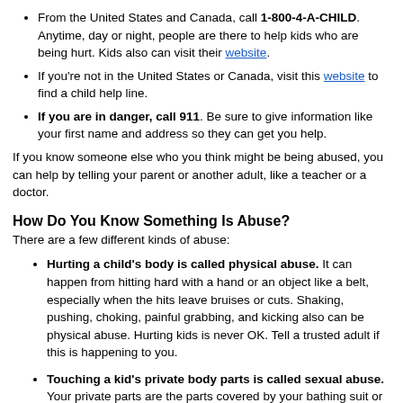From the United States and Canada, call 1-800-4-A-CHILD. Anytime, day or night, people are there to help kids who are being hurt. Kids also can visit their website.
If you're not in the United States or Canada, visit this website to find a child help line.
If you are in danger, call 911. Be sure to give information like your first name and address so they can get you help.
If you know someone else who you think might be being abused, you can help by telling your parent or another adult, like a teacher or a doctor.
How Do You Know Something Is Abuse?
There are a few different kinds of abuse:
Hurting a child's body is called physical abuse. It can happen from hitting hard with a hand or an object like a belt, especially when the hits leave bruises or cuts. Shaking, pushing, choking, painful grabbing, and kicking also can be physical abuse. Hurting kids is never OK. Tell a trusted adult if this is happening to you.
Touching a kid's private body parts is called sexual abuse. Your private parts are the parts covered by your bathing suit or underwear: breasts, vagina, and bottom for girls, and penis and bottom for boys. If an adult or another kid touches a kid's private parts or tells a kid to touch theirs, it is wrong. When this happens, the person might tell the kid that this touching is a secret and not to tell anyone. But a kid does not have to keep this secret. Tell a trusted adult, or more than one, until someone helps.